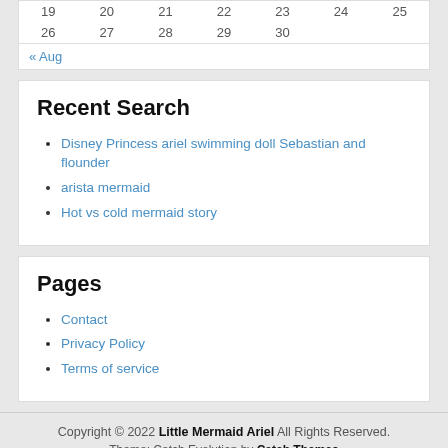| 19 | 20 | 21 | 22 | 23 | 24 | 25 |
| 26 | 27 | 28 | 29 | 30 |  |  |
« Aug
Recent Search
Disney Princess ariel swimming doll Sebastian and flounder
arista mermaid
Hot vs cold mermaid story
Pages
Contact
Privacy Policy
Terms of service
Copyright © 2022 Little Mermaid Ariel All Rights Reserved. Theme: Catch Evolution by Catch Themes